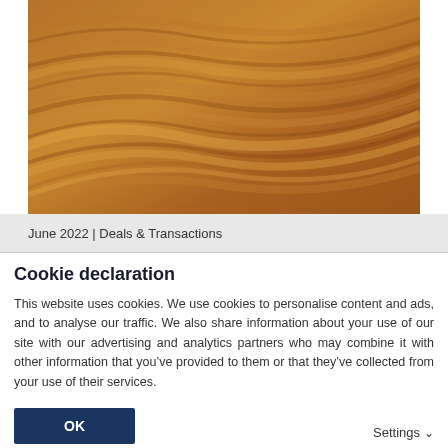[Figure (photo): Close-up photograph of sand dunes showing swirling wave-like patterns in warm brown and golden tones]
June 2022 | Deals & Transactions
Cookie declaration
This website uses cookies. We use cookies to personalise content and ads, and to analyse our traffic. We also share information about your use of our site with our advertising and analytics partners who may combine it with other information that you've provided to them or that they've collected from your use of their services.
OK
Settings